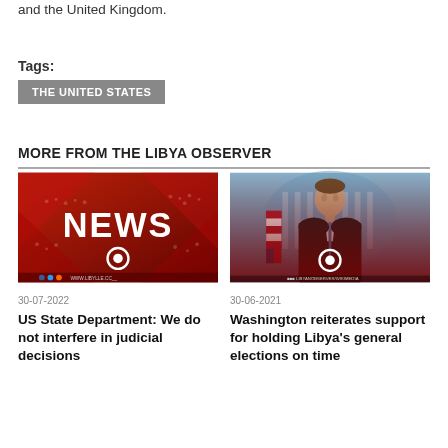and the United Kingdom.
Tags:
THE UNITED STATES
MORE FROM THE LIBYA OBSERVER
[Figure (photo): News graphic with red background and large white NEWS text with globe icon]
30-07-2022
US State Department: We do not interfere in judicial decisions
[Figure (photo): Man in suit with blue tie speaking at White House press briefing, white circular logo overlay]
30-06-2021
Washington reiterates support for holding Libya's general elections on time